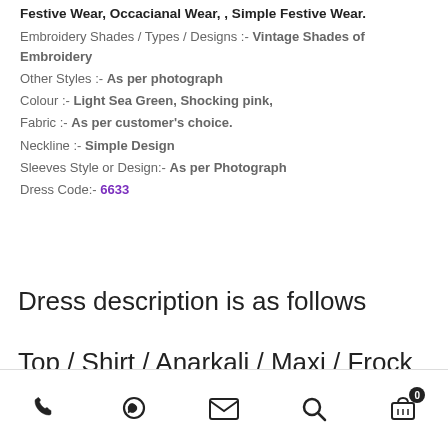Festive Wear, Occacianal Wear, , Simple Festive Wear. Embroidery Shades / Types / Designs :- Vintage Shades of Embroidery Other Styles :- As per photograph Colour :- Light Sea Green, Shocking pink, Fabric :- As per customer's choice. Neckline :- Simple Design Sleeves Style or Design:- As per Photograph Dress Code:- 6633
Dress description is as follows
Top / Shirt / Anarkali / Maxi / Frock
phone | whatsapp | email | search | cart (0)